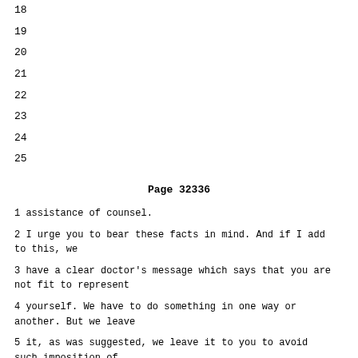18
19
20
21
22
23
24
25
Page 32336
1 assistance of counsel.
2 I urge you to bear these facts in mind. And if I add to this, we
3 have a clear doctor's message which says that you are not fit to represent
4 yourself. We have to do something in one way or another. But we leave
5 it, as was suggested, we leave it to you to avoid such imposition of
6 counsel, but this position, you are not in a state to